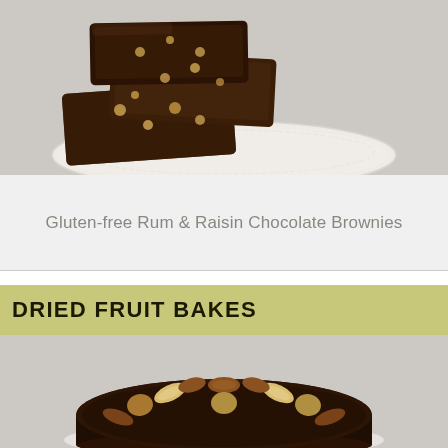[Figure (photo): Chocolate brownies with nuts stacked on a white plate with doily, against a light background]
Gluten-free Rum & Raisin Chocolate Brownies
DRIED FRUIT BAKES
[Figure (photo): Round dark fruit cake topped with pecans, walnuts, and almonds arranged in a circle, on a white surface]